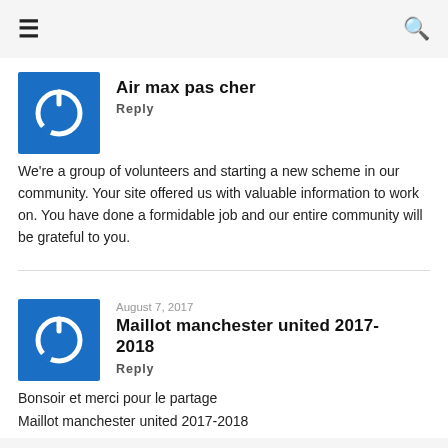☰ [menu] [search]
[Figure (logo): Blue square avatar with white power/on button icon]
Air max pas cher
Reply
We're a group of volunteers and starting a new scheme in our community. Your site offered us with valuable information to work on. You have done a formidable job and our entire community will be grateful to you.
[Figure (logo): Blue square avatar with white power/on button icon]
August 7, 2017
Maillot manchester united 2017-2018
Reply
Bonsoir et merci pour le partage
Maillot manchester united 2017-2018